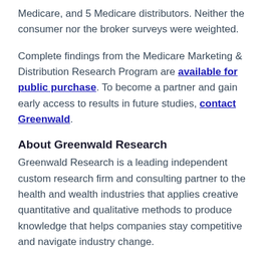Medicare, and 5 Medicare distributors. Neither the consumer nor the broker surveys were weighted.
Complete findings from the Medicare Marketing & Distribution Research Program are available for public purchase. To become a partner and gain early access to results in future studies, contact Greenwald.
About Greenwald Research
Greenwald Research is a leading independent custom research firm and consulting partner to the health and wealth industries that applies creative quantitative and qualitative methods to produce knowledge that helps companies stay competitive and navigate industry change.